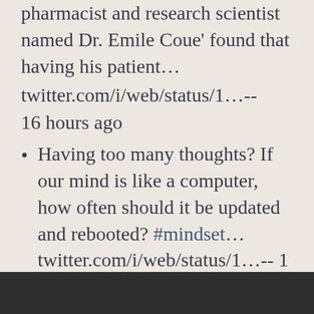pharmacist and research scientist named Dr. Emile Coue' found that having his patient... twitter.com/i/web/status/1...-- 16 hours ago
Having too many thoughts? If our mind is like a computer, how often should it be updated and rebooted? #mindset... twitter.com/i/web/status/1...-- 1 day ago